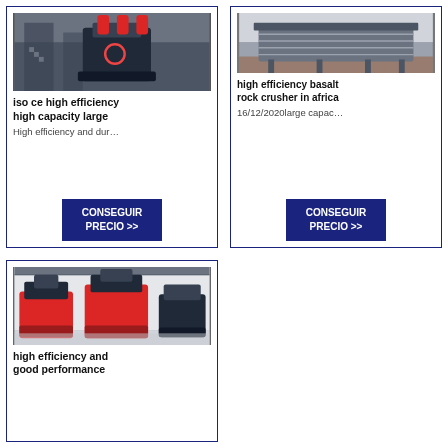[Figure (photo): Industrial cone crusher machine in a factory setting, black and red equipment]
iso ce high efficiency high capacity large
High efficiency and dur…
CONSEGUIR PRECIO >>
[Figure (photo): Metal conveyor or screen equipment outdoors, industrial machinery]
high efficiency basalt rock crusher in africa
16/12/2020large capac…
CONSEGUIR PRECIO >>
[Figure (photo): Multiple large cone crushers in an indoor industrial facility]
high efficiency and good performance